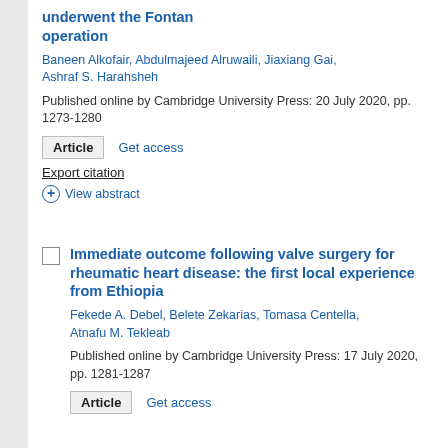underwent the Fontan operation
Baneen Alkofair, Abdulmajeed Alruwaili, Jiaxiang Gai, Ashraf S. Harahsheh
Published online by Cambridge University Press: 20 July 2020, pp. 1273-1280
Article  Get access
Export citation
+ View abstract
Immediate outcome following valve surgery for rheumatic heart disease: the first local experience from Ethiopia
Fekede A. Debel, Belete Zekarias, Tomasa Centella, Atnafu M. Tekleab
Published online by Cambridge University Press: 17 July 2020, pp. 1281-1287
Article  Get access